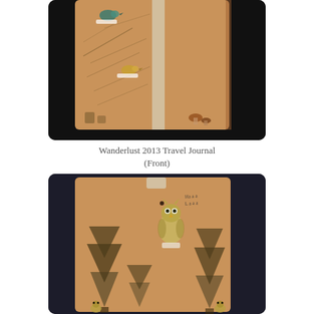[Figure (photo): Photo of the front cover of the Wanderlust 2013 Travel Journal. A tan/kraft paper journal with illustrated birds on branches and tree/mushroom designs, with an elastic band closure, lying on a dark surface.]
Wanderlust 2013 Travel Journal (Front)
[Figure (photo): Photo of the back cover of the Wanderlust 2013 Travel Journal. The kraft paper back shows an illustrated owl perched on a stump, large pine tree designs, and small owl stickers at the bottom, with handwritten text visible, on a dark surface.]